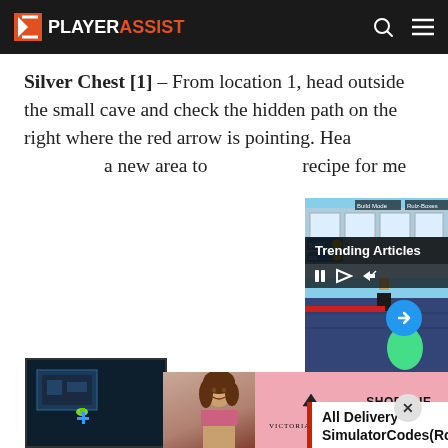PLAYERASSIST
Silver Chest [1] – From location 1, head outside the small cave and check the hidden path on the right where the red arrow is pointing. Head into a new area to find a recipe for me…
[Figure (screenshot): Roblox Delivery Simulator game screenshot with Trending Articles overlay and video player controls]
All Delivery SimulatorCodes(Roblox) – Tested
[Figure (screenshot): Dark map/minimap screenshot from a game]
[Figure (advertisement): Victoria's Secret advertisement banner - Shop The Collection]